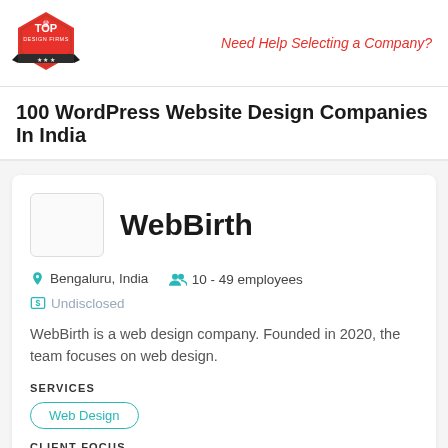Need Help Selecting a Company?
100 WordPress Website Design Companies In India
[Figure (logo): WebBirth company logo placeholder box]
WebBirth
Bengaluru, India   10 - 49 employees
Undisclosed
WebBirth is a web design company. Founded in 2020, the team focuses on web design.
SERVICES
Web Design
CLIENT FOCUS